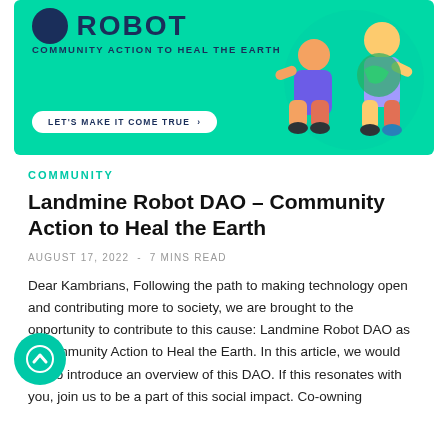[Figure (illustration): Green banner with Landmine Robot DAO logo, tagline 'COMMUNITY ACTION TO HEAL THE EARTH', a 'LET'S MAKE IT COME TRUE >' button, and illustrated characters on the right]
COMMUNITY
Landmine Robot DAO – Community Action to Heal the Earth
AUGUST 17, 2022  -  7 MINS READ
Dear Kambrians, Following the path to making technology open and contributing more to society, we are brought to the opportunity to contribute to this cause: Landmine Robot DAO as a Community Action to Heal the Earth. In this article, we would like to introduce an overview of this DAO. If this resonates with you, join us to be a part of this social impact. Co-owning